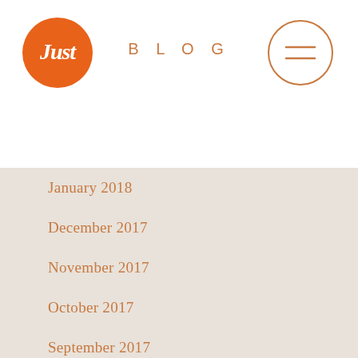[Figure (logo): Orange circular logo with cursive 'Just' text in white]
BLOG
[Figure (other): Circular menu/hamburger button with two horizontal lines, orange border]
January 2018
December 2017
November 2017
October 2017
September 2017
August 2017
July 2017
June 2017
May 2017
April 2017
March 2017